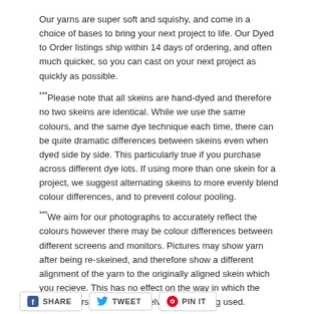Our yarns are super soft and squishy, and come in a choice of bases to bring your next project to life. Our Dyed to Order listings ship within 14 days of ordering, and often much quicker, so you can cast on your next project as quickly as possible.
***Please note that all skeins are hand-dyed and therefore no two skeins are identical. While we use the same colours, and the same dye technique each time, there can be quite dramatic differences between skeins even when dyed side by side. This particularly true if you purchase across different dye lots. If using more than one skein for a project, we suggest alternating skeins to more evenly blend colour differences, and to prevent colour pooling.
***We aim for our photographs to accurately reflect the colours however there may be colour differences between different screens and monitors. Pictures may show yarn after being re-skeined, and therefore show a different alignment of the yarn to the originally aligned skein which you recieve. This has no effect on the way in which the yarn colours present themselves whilst being used.
SHARE   TWEET   PIN IT